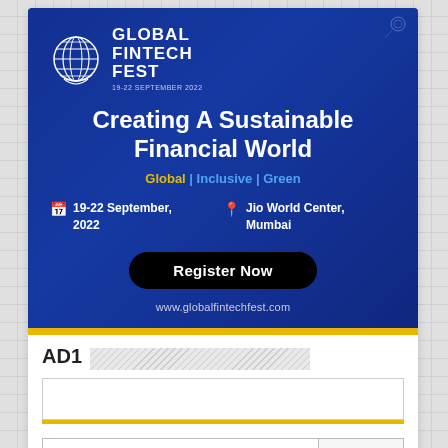[Figure (infographic): Global Fintech Fest advertisement banner. Blue gradient background with conference details. Shows logo with globe icon, text 'Global Fintech Fest 19-22 September 2022', headline 'Creating A Sustainable Financial World', tagline 'Global | Inclusive | Green', date '19-22 September, 2022', venue 'Jio World Center, Mumbai', a 'Register Now' button, and website www.globalfintechfest.com]
AD1
Search